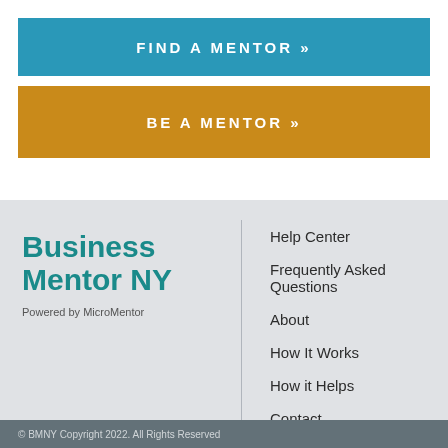FIND A MENTOR »
BE A MENTOR »
[Figure (logo): Business Mentor NY logo with 'Powered by MicroMentor' tagline]
Help Center
Frequently Asked Questions
About
How It Works
How it Helps
Contact
© BMNY Copyright 2022. All Rights Reserved